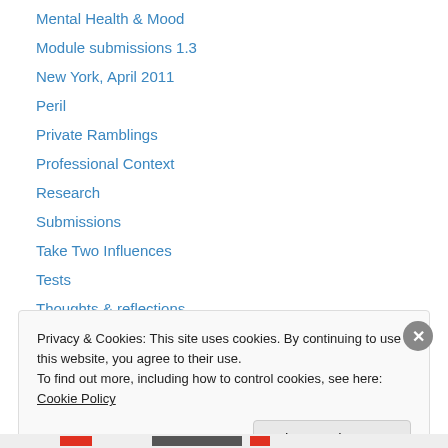Mental Health & Mood
Module submissions 1.3
New York, April 2011
Peril
Private Ramblings
Professional Context
Research
Submissions
Take Two Influences
Tests
Thoughts & reflections
Uncategorized
Privacy & Cookies: This site uses cookies. By continuing to use this website, you agree to their use. To find out more, including how to control cookies, see here: Cookie Policy
Close and accept